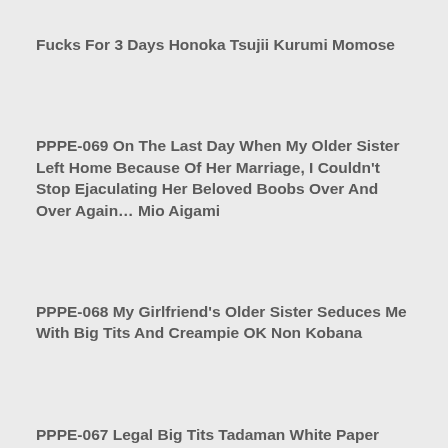Fucks For 3 Days Honoka Tsujii Kurumi Momose
PPPE-069 On The Last Day When My Older Sister Left Home Because Of Her Marriage, I Couldn't Stop Ejaculating Her Beloved Boobs Over And Over Again… Mio Aigami
PPPE-068 My Girlfriend's Older Sister Seduces Me With Big Tits And Creampie OK Non Kobana
PPPE-067 Legal Big Tits Tadaman White Paper Anal